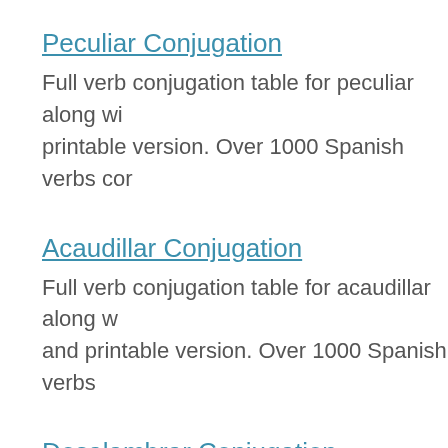Peculiar Conjugation
Full verb conjugation table for peculiar along wi printable version. Over 1000 Spanish verbs cor
Acaudillar Conjugation
Full verb conjugation table for acaudillar along w and printable version. Over 1000 Spanish verbs
Desalambrar Conjugation
Full verb conjugation table for desalambrar alon and printable version. Over 1000 Spanish verbs
Redundar Conjugation
Full verb conjugation table for redundar along w